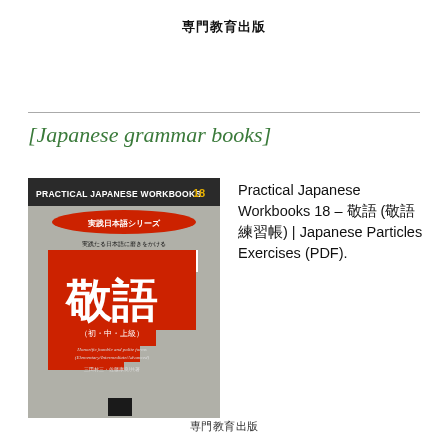専門教育出版
[Japanese grammar books]
[Figure (photo): Book cover of Practical Japanese Workbooks 18 – 敬語, part of the 実践日本語シリーズ series, showing a red stepped geometric design on a grey background with Japanese text 敬語（初・中・上級）]
Practical Japanese Workbooks 18 – 敬語 (敬語練習帳) | Japanese Particles Exercises (PDF).
専門教育出版